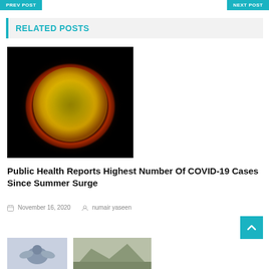PREV POST | NEXT POST
RELATED POSTS
[Figure (photo): Microscope image of a coronavirus particle — yellow spherical body with orange spiky outer ring on black background]
Public Health Reports Highest Number Of COVID-19 Cases Since Summer Surge
November 16, 2020  numair yaseen